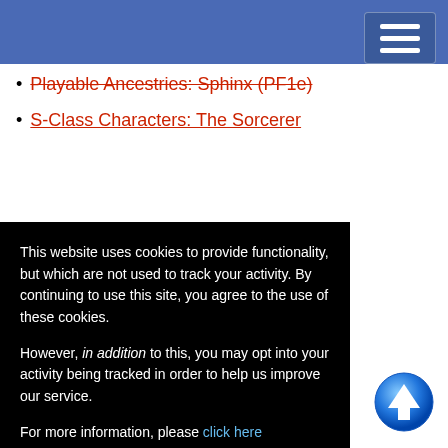[Navigation bar with hamburger menu]
Playable Ancestries: Sphinx (PF1e)
S-Class Characters: The Sorcerer
This website uses cookies to provide functionality, but which are not used to track your activity. By continuing to use this site, you agree to the use of these cookies.

However, in addition to this, you may opt into your activity being tracked in order to help us improve our service.

For more information, please click here
OK   No, thank you